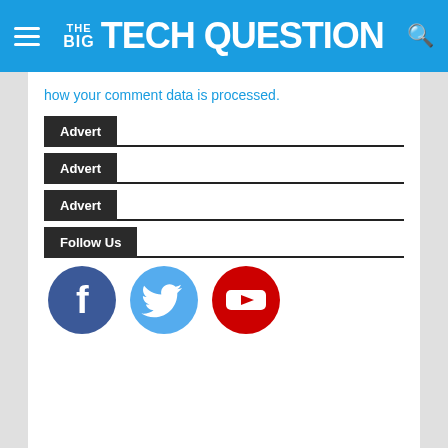THE BIG TECH QUESTION
how your comment data is processed.
Advert
Advert
Advert
Follow Us
[Figure (infographic): Three social media icons in circles: Facebook (dark blue), Twitter (light blue), YouTube (red)]